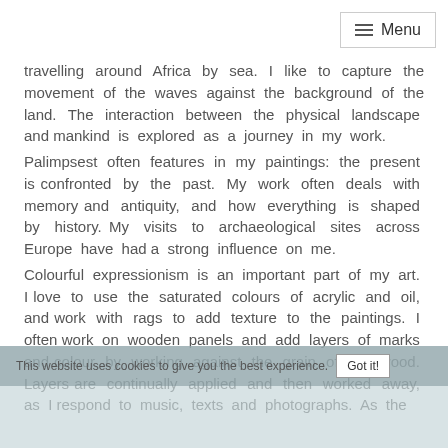Menu
travelling around Africa by sea. I like to capture the movement of the waves against the background of the land. The interaction between the physical landscape and mankind is explored as a journey in my work.
Palimpsest often features in my paintings: the present is confronted by the past. My work often deals with memory and antiquity, and how everything is shaped by history. My visits to archaeological sites across Europe have had a strong influence on me.
Colourful expressionism is an important part of my art. I love to use the saturated colours of acrylic and oil, and work with rags to add texture to the paintings. I often work on wooden panels and add layers of marks and colour by working against the grain of the wood. Layers are continually applied and then worked away, as I respond to music, texts and photographs. As the